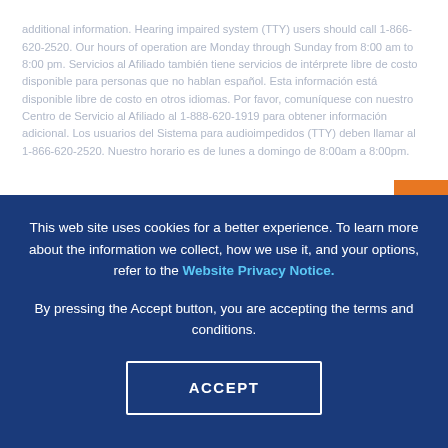additional information. Hearing impaired system (TTY) users should call 1-866-620-2520. Our hours of operation are Monday through Sunday from 8:00 am to 8:00 pm. Servicios al Afiliado también tiene servicios de intérprete libre de costo disponible para personas que no hablan español. Esta información está disponible libre de costo en otros idiomas. Por favor, comuníquese con nuestro Centro de Servicio al Afiliado al 1-888-620-1919 para obtener información adicional. Los usuarios del Sistema para audioimpedidos (TTY) deben llamar al 1-866-620-2520. Nuestro horario es de lunes a domingo de 8:00am a 8:00pm.
This web site uses cookies for a better experience. To learn more about the information we collect, how we use it, and your options, refer to the Website Privacy Notice.
By pressing the Accept button, you are accepting the terms and conditions.
ACCEPT